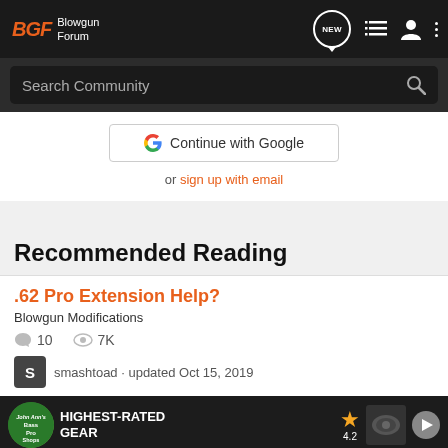BGF Blowgun Forum
Search Community
Continue with Google
or sign up with email
Recommended Reading
.62 Pro Extension Help?
Blowgun Modifications
10   7K
smashtoad · updated Oct 15, 2019
[Figure (screenshot): Bass Pro Shops advertisement banner: HIGHEST-RATED GEAR, rating 4.2 stars]